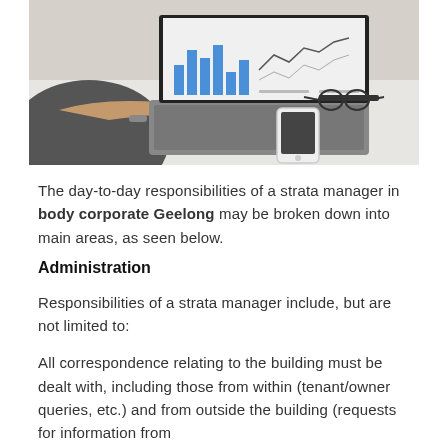[Figure (photo): Person typing on a laptop showing charts and graphs on screen, with glasses and a smartphone on the desk beside the laptop.]
The day-to-day responsibilities of a strata manager in body corporate Geelong may be broken down into main areas, as seen below.
Administration
Responsibilities of a strata manager include, but are not limited to:
All correspondence relating to the building must be dealt with, including those from within (tenant/owner queries, etc.) and from outside the building (requests for information from